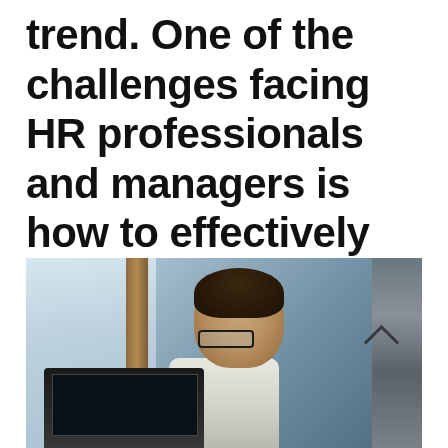trend. One of the challenges facing HR professionals and managers is how to effectively manage part-time employees.
[Figure (photo): A woman wearing glasses sitting at a computer monitor in an office environment, looking at the screen.]